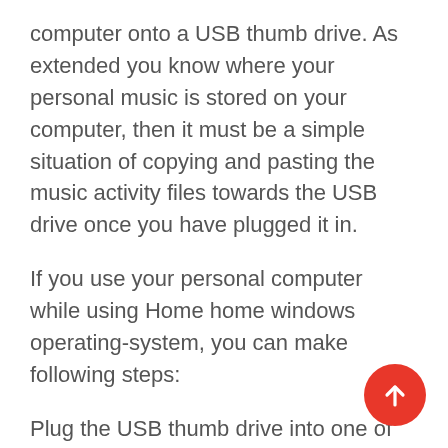computer onto a USB thumb drive. As extended you know where your personal music is stored on your computer, then it must be a simple situation of copying and pasting the music activity files towards the USB drive once you have plugged it in.
If you use your personal computer while using Home home windows operating-system, you can make following steps:
Plug the USB thumb drive into one of the empty USB ports within your computer.
Open Home home windows Explorer. The USB drive should be visible on ‘My Computer’ since E drive. It may be referred to as ‘Removable Drive’